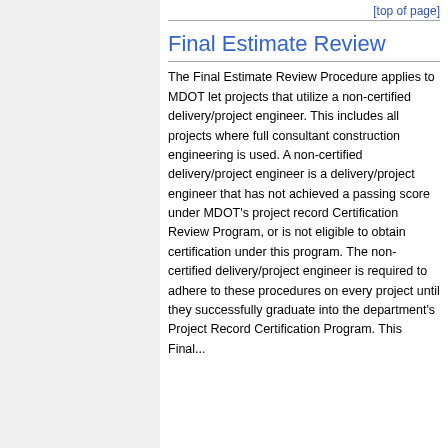[top of page]
Final Estimate Review
The Final Estimate Review Procedure applies to MDOT let projects that utilize a non-certified delivery/project engineer. This includes all projects where full consultant construction engineering is used. A non-certified delivery/project engineer is a delivery/project engineer that has not achieved a passing score under MDOT's project record Certification Review Program, or is not eligible to obtain certification under this program. The non-certified delivery/project engineer is required to adhere to these procedures on every project until they successfully graduate into the department's Project Record Certification Program. This Final...